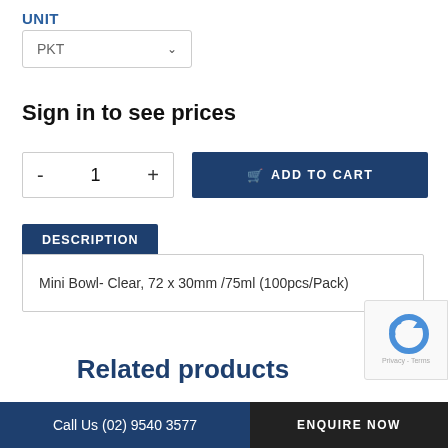UNIT
PKT
Sign in to see prices
- 1 +
ADD TO CART
DESCRIPTION
Mini Bowl- Clear, 72 x 30mm /75ml (100pcs/Pack)
Related products
Call Us (02) 9540 3577   ENQUIRE NOW